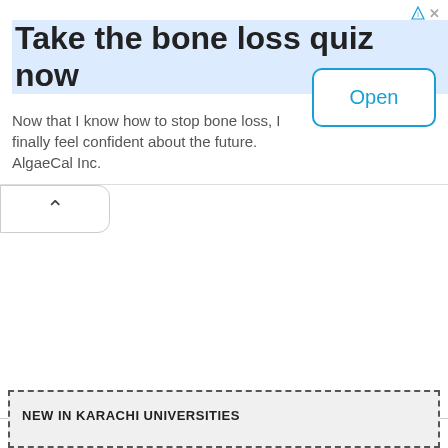Take the bone loss quiz now
Now that I know how to stop bone loss, I finally feel confident about the future. AlgaeCal Inc.
[Figure (other): Open button with blue border and text 'Open']
[Figure (other): Collapse/up arrow tab button on left side]
NEW IN KARACHI UNIVERSITIES